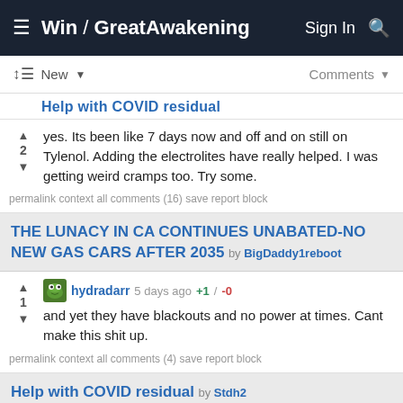Win / GreatAwakening  Sign In 🔍
New ▼   Comments ▼
2
 yes. Its been like 7 days now and off and on still on Tylenol. Adding the electrolites have really helped. I was getting weird cramps too. Try some.
 permalink  context  all comments (16)  save  report  block
THE LUNACY IN CA CONTINUES UNABATED-NO NEW GAS CARS AFTER 2035 by BigDaddy1reboot
hydradarr 5 days ago +1 / -0
1
and yet they have blackouts and no power at times. Cant make this shit up.
permalink  context  all comments (4)  save  report  block
Help with COVID residual by Stdh2
hydradarr 5 days ago +3 / -0
3
I used hydration supplements like this. It really helped me a ton I think. on ebay
permalink  context  all comments (16)  save  report  block